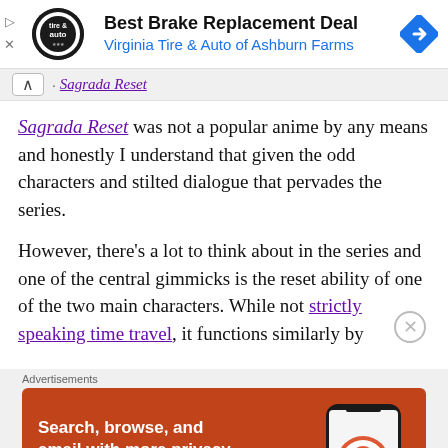[Figure (screenshot): Advertisement banner: Best Brake Replacement Deal, Virginia Tire & Auto of Ashburn Farms, with circular logo and blue diamond arrow icon]
Sagrada Reset was not a popular anime by any means and honestly I understand that given the odd characters and stilted dialogue that pervades the series.
However, there's a lot to think about in the series and one of the central gimmicks is the reset ability of one of the two main characters. While not strictly speaking time travel, it functions similarly by
[Figure (screenshot): DuckDuckGo advertisement: Search, browse, and email with more privacy. All in One Free App. Orange background with phone graphic showing DuckDuckGo app.]